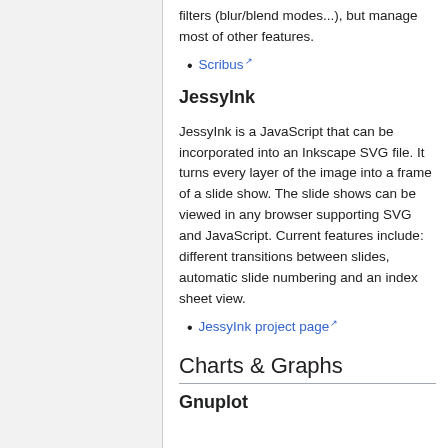filters (blur/blend modes...), but manage most of other features.
Scribus
JessyInk
JessyInk is a JavaScript that can be incorporated into an Inkscape SVG file. It turns every layer of the image into a frame of a slide show. The slide shows can be viewed in any browser supporting SVG and JavaScript. Current features include: different transitions between slides, automatic slide numbering and an index sheet view.
JessyInk project page
Charts & Graphs
Gnuplot